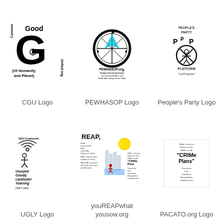[Figure (logo): CGU - Common Good United.org (Of Humanity and Planet) logo with stylized G letter]
CGU Logo
[Figure (logo): PEWHASOP.org logo - Protect the Environment and general Welfare and Health And Safety Of the Public, circular design with cross/flag]
PEWHASOP Logo
[Figure (logo): People's Party Platform GoPP.global logo with PPP letters and figure symbol]
People's Party Logo
[Figure (logo): UGLY.network logo - Usurped Greedy Lackluster Yearning (24/7 ails) with WiFi signal and figure]
UGLY Logo
[Figure (logo): youREAPwhatyousow.org - REAP logo with environmental sampling and testing information]
youREAPwhat yousow.org
[Figure (logo): PACATO.org logo with crime/chemical reduction theme]
PACATO.org Logo